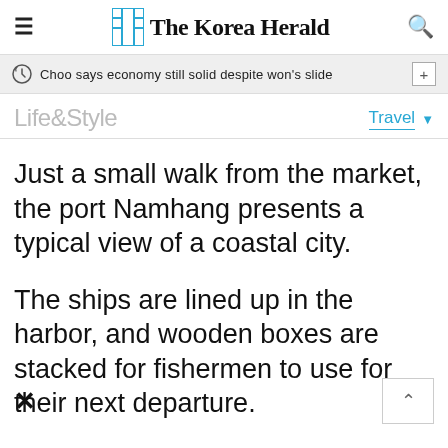The Korea Herald
Choo says economy still solid despite won's slide
Life&Style
Travel
Just a small walk from the market, the port Namhang presents a typical view of a coastal city.
The ships are lined up in the harbor, and wooden boxes are stacked for fishermen to use for their next departure.